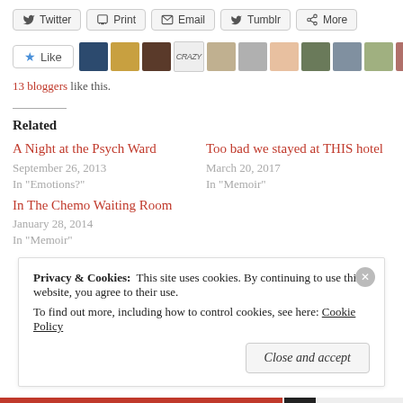[Figure (screenshot): Share buttons row: Twitter, Print, Email, Tumblr, More]
[Figure (screenshot): Like button with star and avatar strip of blogger thumbnails]
13 bloggers like this.
Related
A Night at the Psych Ward
September 26, 2013
In "Emotions?"
Too bad we stayed at THIS hotel
March 20, 2017
In "Memoir"
In The Chemo Waiting Room
January 28, 2014
In "Memoir"
Privacy & Cookies:  This site uses cookies. By continuing to use this website, you agree to their use.
To find out more, including how to control cookies, see here: Cookie Policy